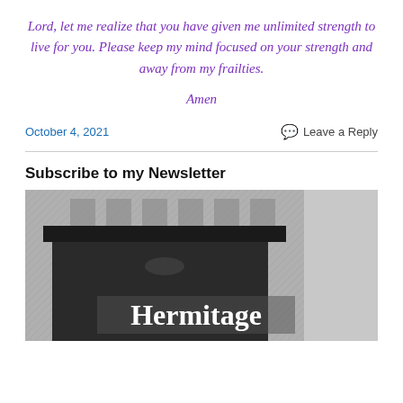Lord, let me realize that you have given me unlimited strength to live for you. Please keep my mind focused on your strength and away from my frailties.
Amen
October 4, 2021
Leave a Reply
Subscribe to my Newsletter
[Figure (photo): Black and white sketch/illustration of a building exterior with the word 'Hermitage' visible in white serif text]